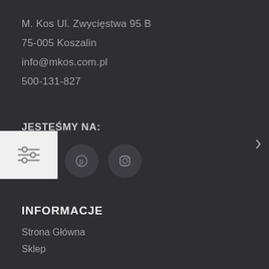M. Kos Ul. Zwycięstwa 95 B
75-005 Koszalin
info@mkos.com.pl
500-131-827
JESTEŚMY NA:
[Figure (infographic): Three social media icon circles: Facebook (f), Pinterest (pin/circle with P), Instagram (camera outline). A filter/settings icon overlay on the left side.]
INFORMACJE
Strona Główna
Sklep